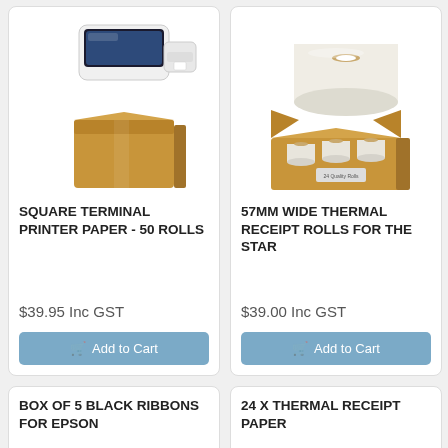[Figure (photo): Square terminal printer/card reader device with a shipping box below it]
SQUARE TERMINAL PRINTER PAPER - 50 ROLLS
$39.95 Inc GST
Add to Cart
[Figure (photo): A large roll of thermal paper above an open box containing 24 smaller thermal paper rolls]
57MM WIDE THERMAL RECEIPT ROLLS FOR THE STAR
$39.00 Inc GST
Add to Cart
BOX OF 5 BLACK RIBBONS FOR EPSON
24 X THERMAL RECEIPT PAPER